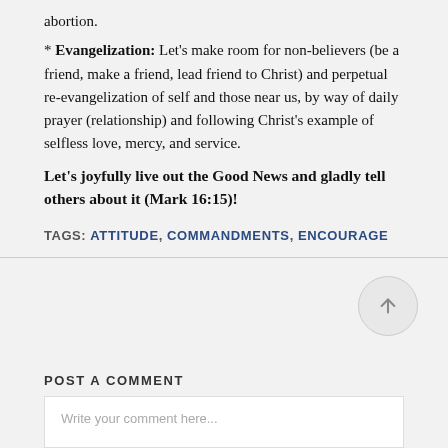abortion.
* Evangelization: Let's make room for non-believers (be a friend, make a friend, lead friend to Christ) and perpetual re-evangelization of self and those near us, by way of daily prayer (relationship) and following Christ's example of selfless love, mercy, and service.
Let's joyfully live out the Good News and gladly tell others about it (Mark 16:15)!
TAGS: ATTITUDE, COMMANDMENTS, ENCOURAGE
POST A COMMENT
Write your comment here...